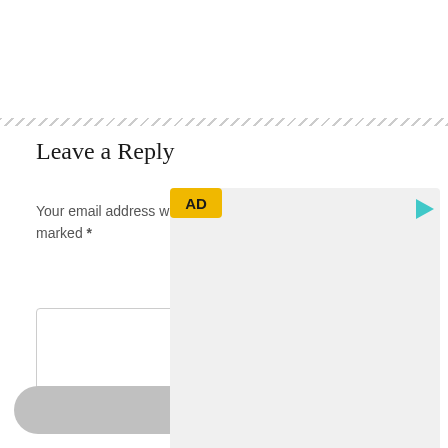Leave a Reply
Your email address wil not be published. Required fields are marked *
[Figure (other): Advertisement overlay with yellow AD badge and teal play button icon on grey background]
Comment text area input box
[Figure (other): Light grey rounded bottom bar with a white plus (+) sign in the center]